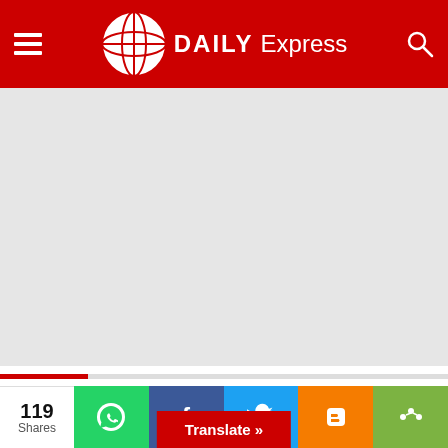Daily Express
[Figure (other): Advertisement placeholder - large grey rectangle below header]
BIG STORIES
BIG STORY
BIG STORY: [headline text partially visible]
119 Shares | WhatsApp | Facebook | Twitter | Blogger | Share | Translate »